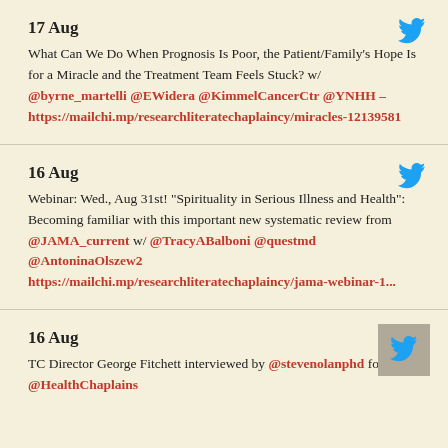17 Aug
What Can We Do When Prognosis Is Poor, the Patient/Family's Hope Is for a Miracle and the Treatment Team Feels Stuck? w/ @byrne_martelli @EWidera @KimmelCancerCtr @YNHH – https://mailchi.mp/researchliteratechaplaincy/miracles-12139581
16 Aug
Webinar: Wed., Aug 31st! "Spirituality in Serious Illness and Health": Becoming familiar with this important new systematic review from @JAMA_current w/ @TracyABalboni @questmd @AntoninaOlszew2 https://mailchi.mp/researchliteratechaplaincy/jama-webinar-1...
16 Aug
TC Director George Fitchett interviewed by @stevenolanphd for @HealthChaplains